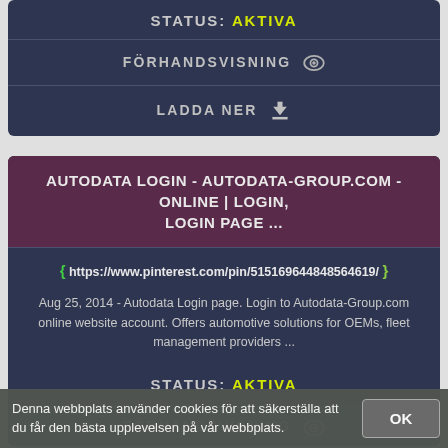STATUS: AKTIVA
FÖRHANDSVISNING
LADDA NER
AUTODATA LOGIN - AUTODATA-GROUP.COM - ONLINE | LOGIN, LOGIN PAGE ...
https://www.pinterest.com/pin/515169644848564619/
Aug 25, 2014 - Autodata Login page. Login to Autodata-Group.com online website account. Offers automotive solutions for OEMs, fleet management providers ...
STATUS: AKTIVA
FÖRHANDSVISNING
Denna webbplats använder cookies för att säkerställa att du får den bästa upplevelsen på vår webbplats.